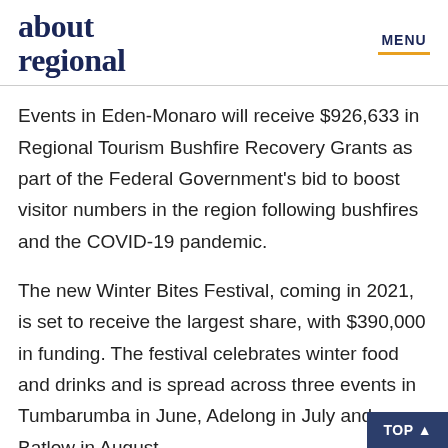about regional | MENU
Events in Eden-Monaro will receive $926,633 in Regional Tourism Bushfire Recovery Grants as part of the Federal Government's bid to boost visitor numbers in the region following bushfires and the COVID-19 pandemic.
The new Winter Bites Festival, coming in 2021, is set to receive the largest share, with $390,000 in funding. The festival celebrates winter food and drinks and is spread across three events in Tumbarumba in June, Adelong in July and Batlow in August.
"Professional caterers and food vendors will showcase